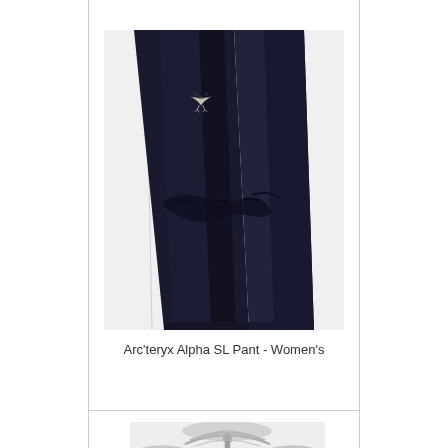[Figure (photo): Close-up photo of Arc'teryx Alpha SL Pant in black color, showing the leg panel with the Arc'teryx bird logo embroidered in silver/cream, and articulated knee area with gathered fabric detail.]
Arc'teryx Alpha SL Pant - Women's
[Figure (photo): Partial view of a light grey/white Arc'teryx fleece or softshell jacket showing the collar/hood area and front zipper, cropped at waist level.]